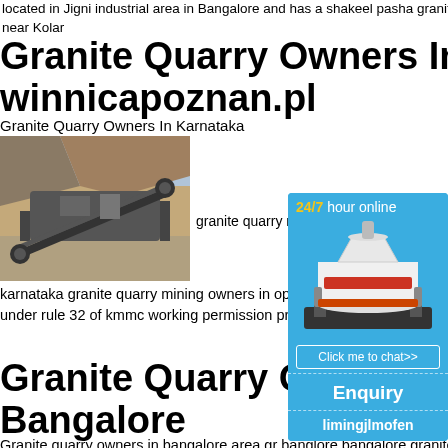located in Jigni industrial area in Bangalore and has a shakeel pasha granite is strategically located at Kylanoor near Kolar
Granite Quarry Owners In Karnataka - winnicapoznan.pl
Granite Quarry Owners In Karnataka
[Figure (photo): Photograph of granite quarry mining equipment/machinery at a quarry site with rocky terrain in background]
granite quarry m
karnataka granite quarry mining owners in operations for extraction of black is proposed under rule 32 of kmmc working permission protection of environm
[Figure (infographic): Advertisement sidebar with '24/7 hour online' heading in yellow/gold, image of cone crusher machinery, 'Click me to chat>>' button, 'Enquiry' section, and 'limingjlmofen' text on blue background]
Granite Quarry Owners Bangalore
Granite quarry owners in bangalore area gr banglore bangalore granite quarry sand wa